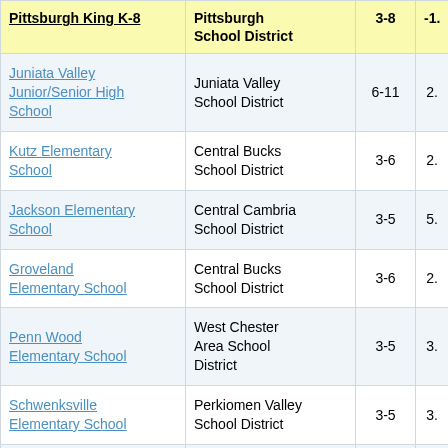| School | School District | Grades | Score |
| --- | --- | --- | --- |
| Pittsburgh King K-8 | Pittsburgh School District | 3-8 | -1. |
| Juniata Valley Junior/Senior High School | Juniata Valley School District | 6-11 | 2. |
| Kutz Elementary School | Central Bucks School District | 3-6 | 2. |
| Jackson Elementary School | Central Cambria School District | 3-5 | 5. |
| Groveland Elementary School | Central Bucks School District | 3-6 | 2. |
| Penn Wood Elementary School | West Chester Area School District | 3-5 | 3. |
| Schwenksville Elementary School | Perkiomen Valley School District | 3-5 | 3. |
| Kunkel Elementary School | Middletown Area School District | 3-5 | 3. |